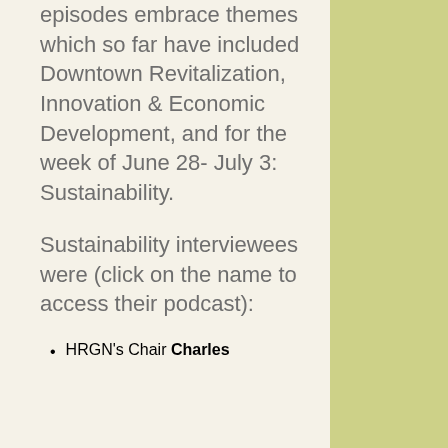episodes embrace themes which so far have included Downtown Revitalization, Innovation & Economic Development, and for the week of June 28- July 3: Sustainability.
Sustainability interviewees were (click on the name to access their podcast):
HRGN's Chair Charles